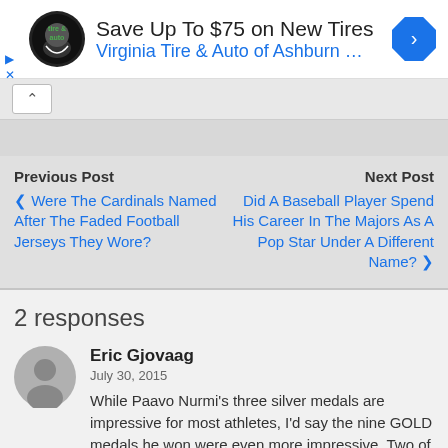[Figure (other): Advertisement banner: Virginia Tire & Auto logo, text 'Save Up To $75 on New Tires' and 'Virginia Tire & Auto of Ashburn …', blue navigation icon on right]
Previous Post
< Were The Cardinals Named After The Faded Football Jerseys They Wore?
Next Post
Did A Baseball Player Spend His Career In The Majors As A Pop Star Under A Different Name? >
2 responses
Eric Gjovaag
July 30, 2015
While Paavo Nurmi's three silver medals are impressive for most athletes, I'd say the nine GOLD medals he won were even more impressive. Two of